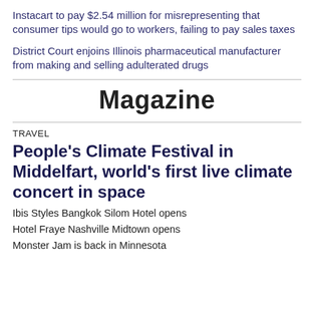Instacart to pay $2.54 million for misrepresenting that consumer tips would go to workers, failing to pay sales taxes
District Court enjoins Illinois pharmaceutical manufacturer from making and selling adulterated drugs
Magazine
TRAVEL
People's Climate Festival in Middelfart, world's first live climate concert in space
Ibis Styles Bangkok Silom Hotel opens
Hotel Fraye Nashville Midtown opens
Monster Jam is back in Minnesota